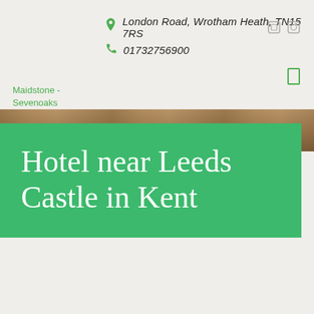London Road, Wrotham Heath, TN15 7RS
01732756900
Maidstone - Sevenoaks
[Figure (photo): Partial background photo strip showing warm brown tones, likely food or interior of hotel]
Hotel near Leeds Castle in Kent